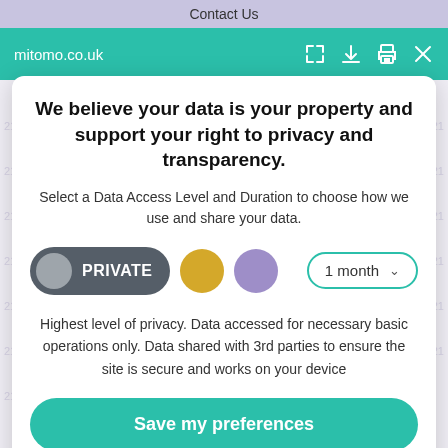Contact Us
mitomo.co.uk
We believe your data is your property and support your right to privacy and transparency.
Select a Data Access Level and Duration to choose how we use and share your data.
[Figure (infographic): Privacy level selector showing PRIVATE option selected (dark pill button with grey circle), a gold dot button, a purple dot button, and a '1 month' dropdown with teal border]
Highest level of privacy. Data accessed for necessary basic operations only. Data shared with 3rd parties to ensure the site is secure and works on your device
Save my preferences
Customize
Privacy policy